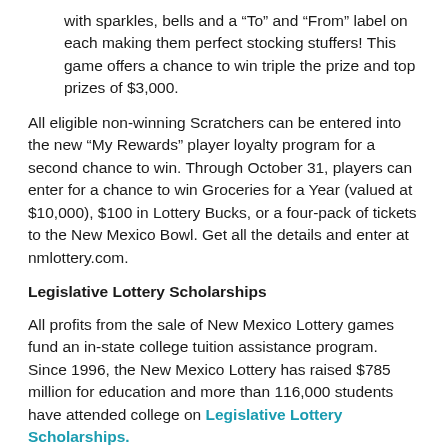with sparkles, bells and a “To” and “From” label on each making them perfect stocking stuffers! This game offers a chance to win triple the prize and top prizes of $3,000.
All eligible non-winning Scratchers can be entered into the new “My Rewards” player loyalty program for a second chance to win. Through October 31, players can enter for a chance to win Groceries for a Year (valued at $10,000), $100 in Lottery Bucks, or a four-pack of tickets to the New Mexico Bowl. Get all the details and enter at nmlottery.com.
Legislative Lottery Scholarships
All profits from the sale of New Mexico Lottery games fund an in-state college tuition assistance program. Since 1996, the New Mexico Lottery has raised $785 million for education and more than 116,000 students have attended college on Legislative Lottery Scholarships.
More information about Legislative Lottery Scholarships is available on our scholarship web page.